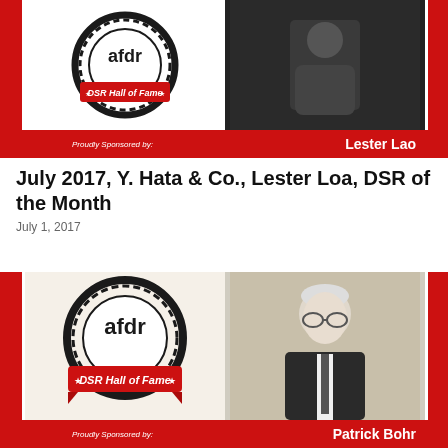[Figure (photo): DSR Hall of Fame award card with afdr logo on left and photo of Lester Lao on right, red border, 'Proudly Sponsored by:' and 'Lester Lao' text on red bar at bottom]
July 2017, Y. Hata & Co., Lester Loa, DSR of the Month
July 1, 2017
[Figure (photo): DSR Hall of Fame award card with afdr logo on left and photo of Patrick Bohr on right, red border, 'Proudly Sponsored by:' and 'Patrick Bohr' text on red bar at bottom]